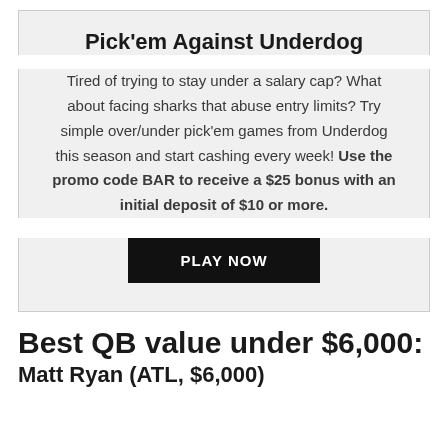Pick'em Against Underdog
Tired of trying to stay under a salary cap? What about facing sharks that abuse entry limits? Try simple over/under pick'em games from Underdog this season and start cashing every week! Use the promo code BAR to receive a $25 bonus with an initial deposit of $10 or more.
PLAY NOW
Best QB value under $6,000:
Matt Ryan (ATL, $6,000)